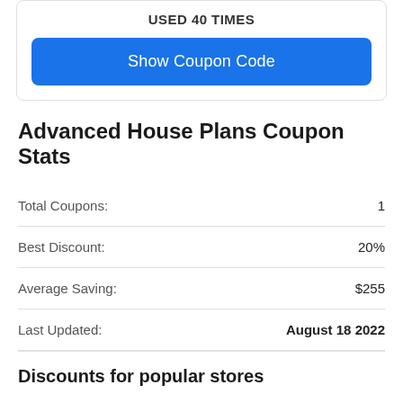USED 40 TIMES
Show Coupon Code
Advanced House Plans Coupon Stats
|  |  |
| --- | --- |
| Total Coupons: | 1 |
| Best Discount: | 20% |
| Average Saving: | $255 |
| Last Updated: | August 18 2022 |
Discounts for popular stores